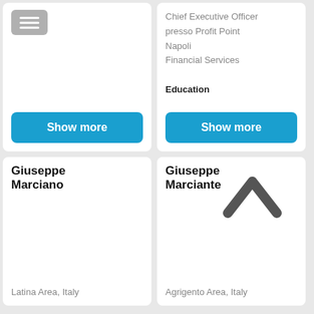[Figure (screenshot): Top-left card with menu hamburger button and Show more button]
Chief Executive Officer
presso Profit Point
Napoli
Financial Services

Education
Giuseppe Marciano
Latina Area, Italy
Giuseppe Marciante
Agrigento Area, Italy